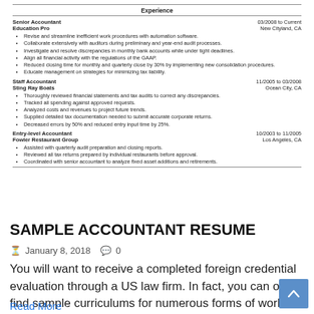[Figure (screenshot): Resume excerpt showing Experience section with three job entries: Senior Accountant at Education Pro (03/2008 to Current, New Cityland, CA), Staff Accountant at Sting Ray Boats (11/2005 to 03/2008, Ocean City, CA), and Entry-level Accountant at Fowler Restaurant Group (10/2003 to 11/2005, Los Angeles, CA), each with bullet points.]
SAMPLE ACCOUNTANT RESUME
January 8, 2018  0
You will want to receive a completed foreign credential evaluation through a US law firm. In fact, you can often find sample curriculums for numerous forms of work you might be requesting. You can use …
Read More